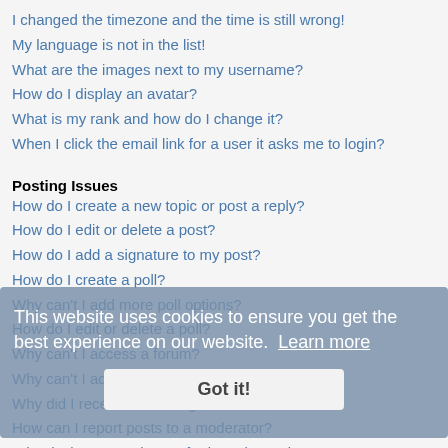I changed the timezone and the time is still wrong!
My language is not in the list!
What are the images next to my username?
How do I display an avatar?
What is my rank and how do I change it?
When I click the email link for a user it asks me to login?
Posting Issues
How do I create a new topic or post a reply?
How do I edit or delete a post?
How do I add a signature to my post?
How do I create a poll?
Why can't I add more poll options?
How do I edit or delete a poll?
Why can't I access a forum?
Why can't I add attachments?
Why did I receive a warning?
How can I report posts to a moderator?
What is the "Save" button for in topic posting?
Why does my post need to be approved?
How do I bump my topic?
Formatting and Topic Types
What is BBCode?
Can I use HTML?
What are Smilies?
This website uses cookies to ensure you get the best experience on our website. Learn more
Got it!